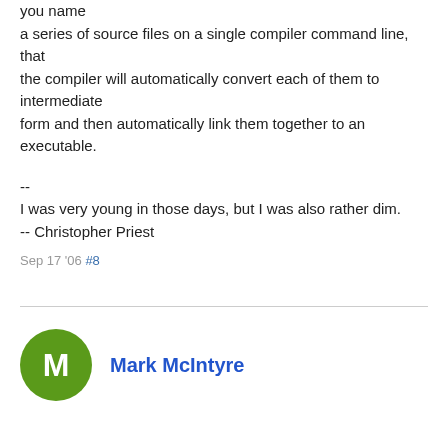you name a series of source files on a single compiler command line, that the compiler will automatically convert each of them to intermediate form and then automatically link them together to an executable.
--
I was very young in those days, but I was also rather dim.
-- Christopher Priest
Sep 17 '06 #8
Mark McIntyre